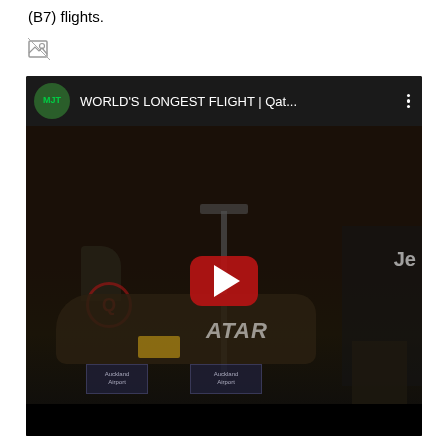(B7) flights.
[Figure (other): Broken/loading image icon]
[Figure (screenshot): YouTube video embed showing 'WORLD'S LONGEST FLIGHT | Qat...' with a dark thumbnail of a Qatar Airways aircraft at what appears to be Auckland Airport, with a red YouTube play button in the center. The channel avatar shows 'MJT' initials in green on a dark background.]